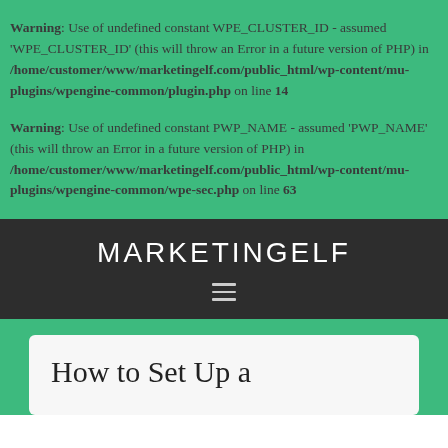Warning: Use of undefined constant WPE_CLUSTER_ID - assumed 'WPE_CLUSTER_ID' (this will throw an Error in a future version of PHP) in /home/customer/www/marketingelf.com/public_html/wp-content/mu-plugins/wpengine-common/plugin.php on line 14
Warning: Use of undefined constant PWP_NAME - assumed 'PWP_NAME' (this will throw an Error in a future version of PHP) in /home/customer/www/marketingelf.com/public_html/wp-content/mu-plugins/wpengine-common/wpe-sec.php on line 63
MARKETINGELF
[Figure (other): Hamburger menu icon (three horizontal lines)]
How to Set Up a